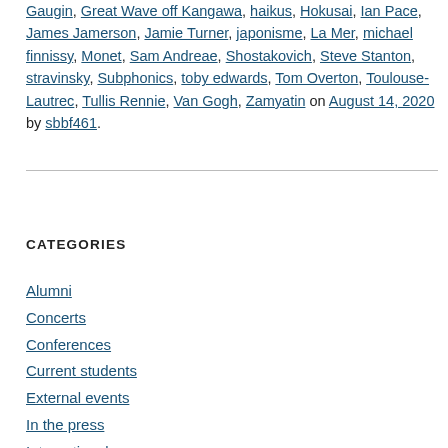Gaugin, Great Wave off Kangawa, haikus, Hokusai, Ian Pace, James Jamerson, Jamie Turner, japonisme, La Mer, michael finnissy, Monet, Sam Andreae, Shostakovich, Steve Stanton, stravinsky, Subphonics, toby edwards, Tom Overton, Toulouse-Lautrec, Tullis Rennie, Van Gogh, Zamyatin on August 14, 2020 by sbbf461.
CATEGORIES
Alumni
Concerts
Conferences
Current students
External events
In the press
International